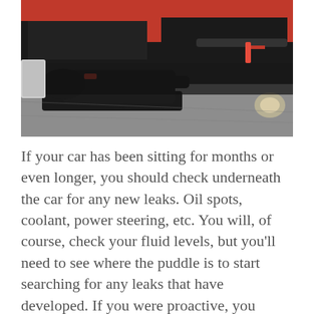[Figure (photo): A mechanic wearing dark clothing lying on a mechanic's creeper underneath a red car, working on the underside of the vehicle. The photo is taken from ground level showing the undercarriage of the car.]
If your car has been sitting for months or even longer, you should check underneath the car for any new leaks. Oil spots, coolant, power steering, etc. You will, of course, check your fluid levels, but you'll need to see where the puddle is to start searching for any leaks that have developed. If you were proactive, you placed a piece of cardboard or a tarp underneath your car before storing it for the winter, which will hold the leaking fluid in place and give you a good idea of